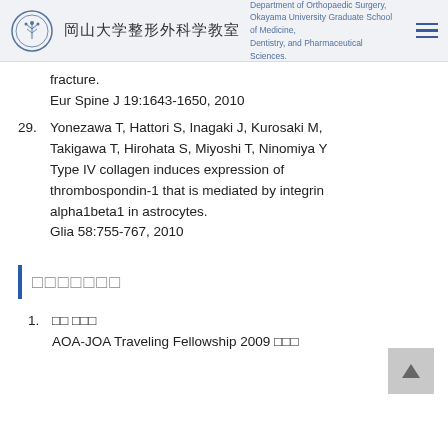岡山大学整形外科学教室 | Department of Orthopaedic Surgery, Okayama University Graduate School of Medicine, Dentistry, and Pharmaceutical Sciences
fracture.
Eur Spine J 19:1643-1650, 2010
29. Yonezawa T, Hattori S, Inagaki J, Kurosaki M, Takigawa T, Hirohata S, Miyoshi T, Ninomiya Y Type IV collagen induces expression of thrombospondin-1 that is mediated by integrin alpha1beta1 in astrocytes.
Glia 58:755-767, 2010
□□□□□□□
1. □□ □□□
AOA-JOA Traveling Fellowship 2009 □□□